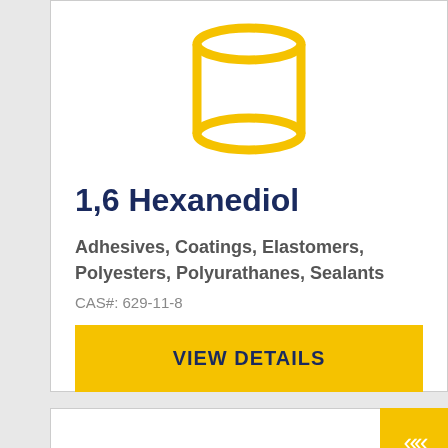[Figure (illustration): Yellow icon of a chemical container/canister (cylindrical drum shape) on white background]
1,6 Hexanediol
Adhesives, Coatings, Elastomers, Polyesters, Polyurathanes, Sealants
CAS#: 629-11-8
VIEW DETAILS
[Figure (illustration): Partial yellow icon of a chemical container visible at bottom of page, second product card]